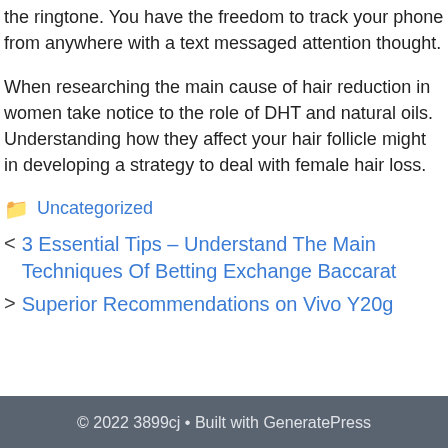the ringtone. You have the freedom to track your phone from anywhere with a text messaged attention thought.
When researching the main cause of hair reduction in women take notice to the role of DHT and natural oils. Understanding how they affect your hair follicle might in developing a strategy to deal with female hair loss.
Uncategorized
3 Essential Tips – Understand The Main Techniques Of Betting Exchange Baccarat
Superior Recommendations on Vivo Y20g
© 2022 3899cj • Built with GeneratePress